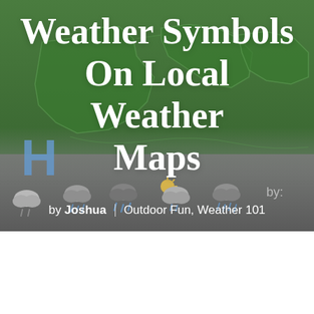[Figure (illustration): Background hero image showing a weather map of the southern United States with green state outlines, a large blue letter H (high pressure), and a row of weather cloud/rain icons along the bottom including a sun-and-cloud icon. The background transitions from green map area to dark gray/charcoal at the bottom.]
Weather Symbols On Local Weather Maps
by Joshua | Outdoor Fun, Weather 101